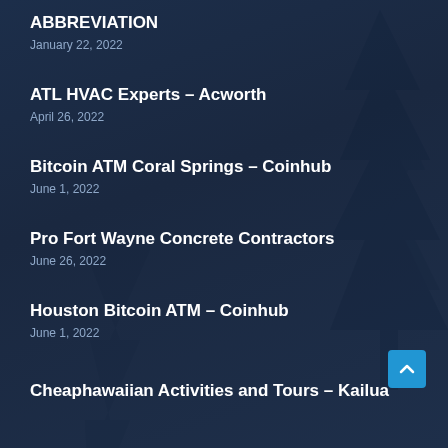ABBREVIATION
January 22, 2022
ATL HVAC Experts – Acworth
April 26, 2022
Bitcoin ATM Coral Springs – Coinhub
June 1, 2022
Pro Fort Wayne Concrete Contractors
June 26, 2022
Houston Bitcoin ATM – Coinhub
June 1, 2022
Cheaphawaiian Activities and Tours – Kailua